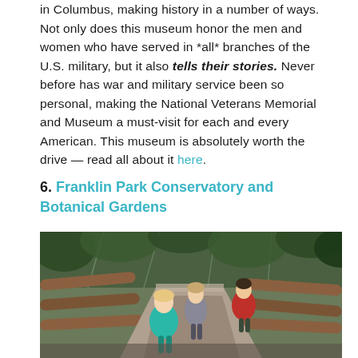in Columbus, making history in a number of ways. Not only does this museum honor the men and women who have served in *all* branches of the U.S. military, but it also tells their stories. Never before has war and military service been so personal, making the National Veterans Memorial and Museum a must-visit for each and every American. This museum is absolutely worth the drive — read all about it here.
6. Franklin Park Conservatory and Botanical Gardens
[Figure (photo): Children walking on a wooden boardwalk path through a lush green botanical conservatory greenhouse, with tropical plants and a glass ceiling visible. A young girl in a teal outfit is in the foreground, a girl in grey jacket in the middle, and a boy in a red jacket on the right.]